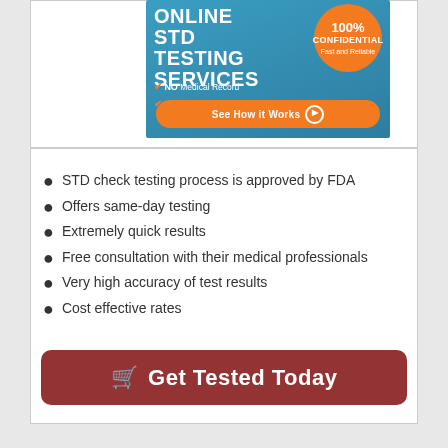[Figure (infographic): Online STD Testing Services advertisement banner. Blue gradient background. Large white bold text reading ONLINE STD TESTING SERVICES. Orange circle badge top right reading 100% CONFIDENTIAL Fast and Reliable. Orange checkmarks with white text: NO Medical Record, NO Insurance Notifications. Orange rounded button at bottom: See How it Works with play arrow icon.]
STD check testing process is approved by FDA
Offers same-day testing
Extremely quick results
Free consultation with their medical professionals
Very high accuracy of test results
Cost effective rates
Get Tested Today